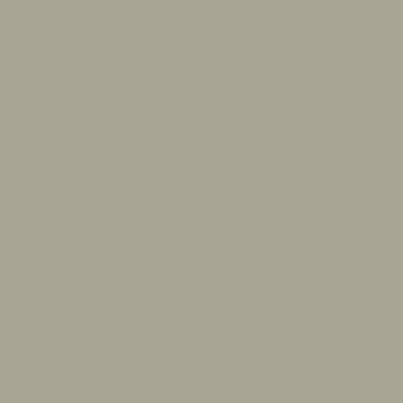[Figure (other): Gray sidebar panel on the left side of the page]
2015 Mugs Stump Aw...
(1 comment) Last post by S
Mountaineering Stude...
(1 comment) Last post by iti
Teams Smoke Speed R...
(3 comments) Last post by S
French Mountain Guid...
(1 comment) Last post by iti
Lessons from 40 Year...
(5 comments) Last post by R
Canadians Free Baffin...
(1 comment) Last post by n
2012 American Alpine...
(11 comments) Last post by
Italians Get Their Ya-Y...
(1 comment) Last post by al
Storied Canadian Roc...
(4 comments) Last post by R
The Ultimate Linkup in...
(1 comment) Last post by S